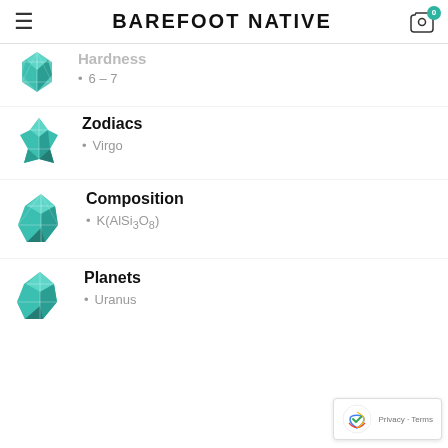Barefoot Native
Hardness
6 – 7
[Figure (illustration): Teal/turquoise geometric crystal illustration]
Zodiacs
Virgo
[Figure (illustration): Teal/turquoise geometric crystal illustration]
Composition
K(AlSi3O8)
[Figure (illustration): Teal/turquoise geometric crystal illustration]
Planets
Uranus
[Figure (illustration): Teal/turquoise geometric crystal illustration]